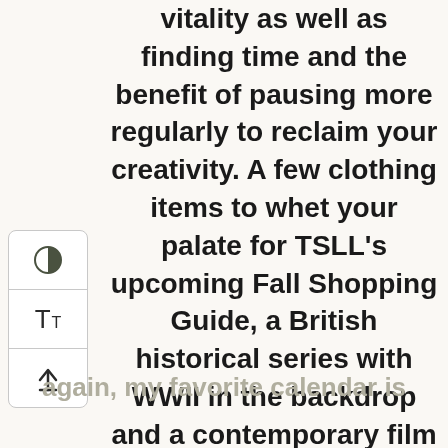vitality as well as finding time and the benefit of pausing more regularly to reclaim your creativity. A few clothing items to whet your palate for TSLL's upcoming Fall Shopping Guide, a British historical series with WWII in the backdrop and a contemporary film with the coronavirus in the backdrop. As well, dog parents, I have found a chic bed from Britain and it's that time of year again, my favorite calendar is